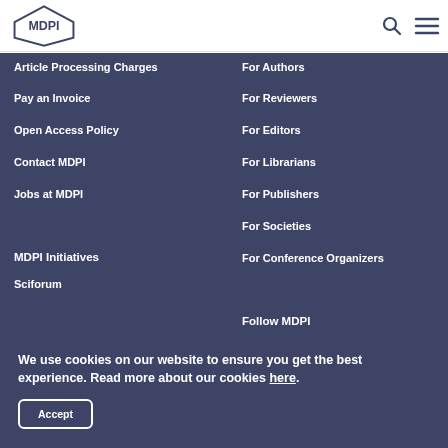MDPI
Article Processing Charges
Pay an Invoice
Open Access Policy
Contact MDPI
Jobs at MDPI
For Authors
For Reviewers
For Editors
For Librarians
For Publishers
For Societies
For Conference Organizers
MDPI Initiatives
Sciforum
Follow MDPI
LinkedIn
We use cookies on our website to ensure you get the best experience. Read more about our cookies here.
Accept